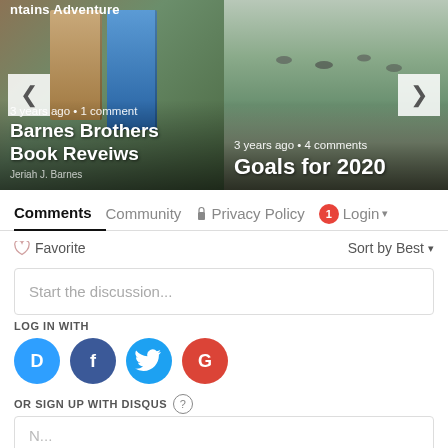[Figure (screenshot): Blog post carousel showing two posts: 'Barnes Brothers Book Reveiws' (3 years ago, 1 comment) and 'Goals for 2020' (3 years ago, 4 comments), with left and right navigation arrows]
3 years ago • 1 comment
Barnes Brothers Book Reveiws
3 years ago • 4 comments
Goals for 2020
Comments  Community  🔒 Privacy Policy  1  Login
♡ Favorite
Sort by Best
Start the discussion...
LOG IN WITH
[Figure (logo): Social login icons: Disqus (D), Facebook (f), Twitter bird, Google (G)]
OR SIGN UP WITH DISQUS ?
N...